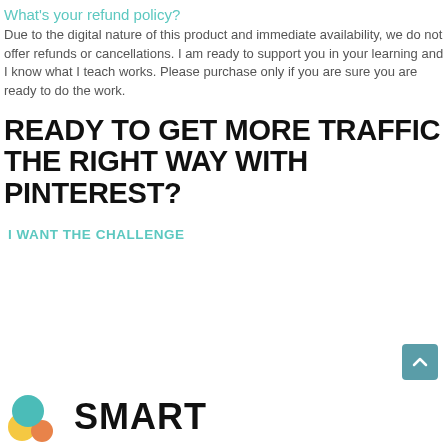What's your refund policy?
Due to the digital nature of this product and immediate availability, we do not offer refunds or cancellations. I am ready to support you in your learning and I know what I teach works. Please purchase only if you are sure you are ready to do the work.
READY TO GET MORE TRAFFIC THE RIGHT WAY WITH PINTEREST?
I WANT THE CHALLENGE
[Figure (logo): Smart logo with colorful circles (teal, yellow, orange) and the word SMART in bold black text]